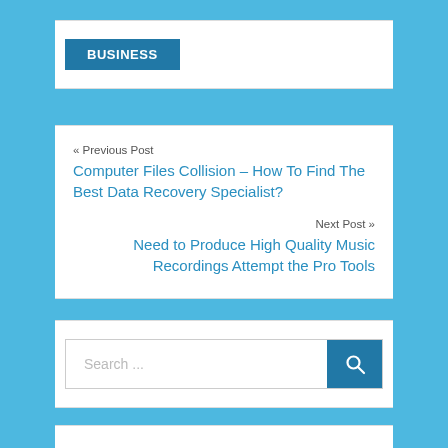BUSINESS
« Previous Post
Computer Files Collision – How To Find The Best Data Recovery Specialist?
Next Post »
Need to Produce High Quality Music Recordings Attempt the Pro Tools
Search ...